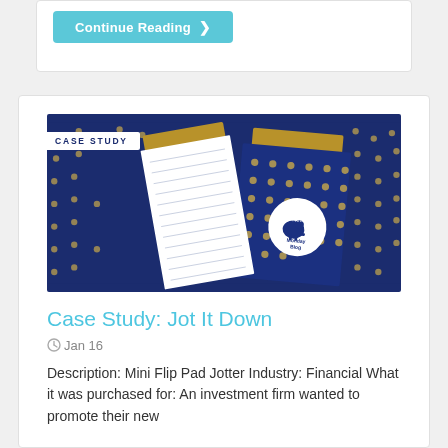Continue Reading ❯
[Figure (photo): Photo of a mini flip pad jotter and a navy blue dotted notebook with gold accents and a white circular logo reading 'New Monday Blog' with a piggy bank icon. A white label 'CASE STUDY' overlays the top-left corner of the image.]
Case Study: Jot It Down
Jan 16
Description: Mini Flip Pad Jotter Industry: Financial What it was purchased for: An investment firm wanted to promote their new